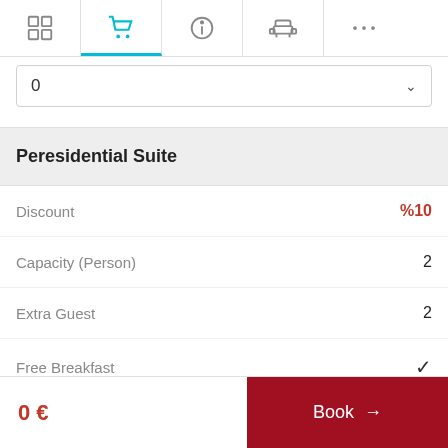[Figure (screenshot): Navigation bar with icons: grid/hotel icon, shopping cart icon (active, cyan), info icon, sofa/room icon, ellipsis (more)]
0
Peresidential Suite
Discount  %10
Capacity (Person)  2
Extra Guest  2
Free Breakfast  ✓
0 €
Book →